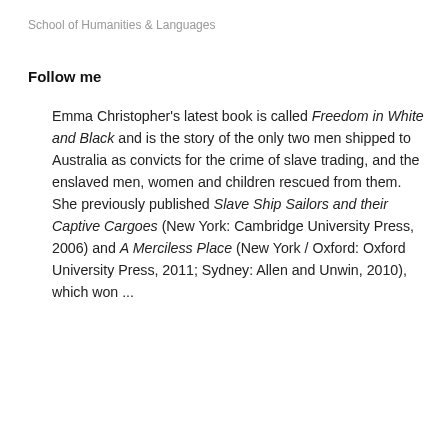School of Humanities & Languages
Follow me
Emma Christopher's latest book is called Freedom in White and Black and is the story of the only two men shipped to Australia as convicts for the crime of slave trading, and the enslaved men, women and children rescued from them. She previously published Slave Ship Sailors and their Captive Cargoes (New York: Cambridge University Press, 2006) and A Merciless Place (New York / Oxford: Oxford University Press, 2011; Sydney: Allen and Unwin, 2010), which won ...
Read more